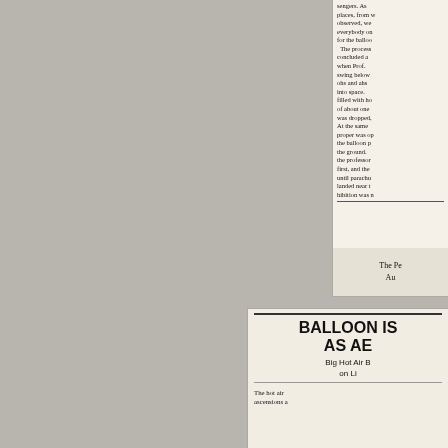sengers. As places, from w observed, we everybody on for the balloo The process concluded a when Prof. swing below ohs and ahs into space. filled with ho of about one was dropped, At the same proper was op the balloon p the ground. the professor first, and the until parachu landed near t hibition was n
The Pe Au
BALLOON IS AS AE
Big Hot Air B on Li
The hot air ascensions a